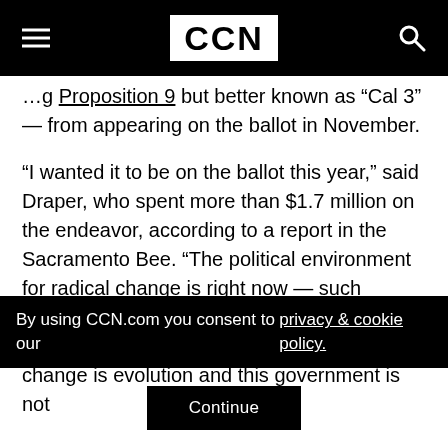CCN
…g Proposition 9 but better known as “Cal 3” — from appearing on the ballot in November.
“I wanted it to be on the ballot this year,” said Draper, who spent more than $1.7 million on the endeavor, according to a report in the Sacramento Bee. “The political environment for radical change is right now — such change is sweeping the globe. I understand that change is hard, change is scary, but change is evolution and this government is not
By using CCN.com you consent to our  privacy & cookie policy.
Continue